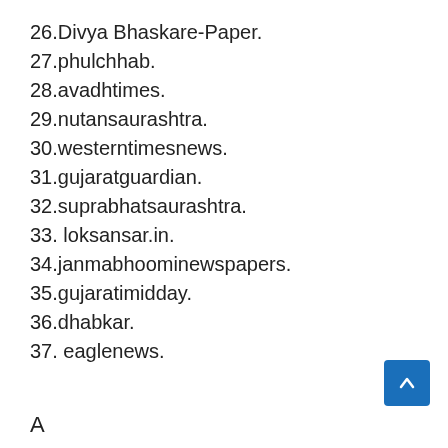26.Divya Bhaskare-Paper.
27.phulchhab.
28.avadhtimes.
29.nutansaurashtra.
30.westerntimesnews.
31.gujaratguardian.
32.suprabhatsaurashtra.
33. loksansar.in.
34.janmabhoominewspapers.
35.gujaratimidday.
36.dhabkar.
37. eaglenews.
A